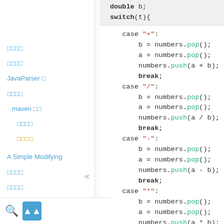[Figure (screenshot): Code editor screenshot showing Java switch statement with cases for +, /, -, * operators using a numbers stack]
□□□□
□□□□
JavaParser □
□□□□
maven □□
□□□□
□□□□
A Simple Modifying
□□□□
□□□□